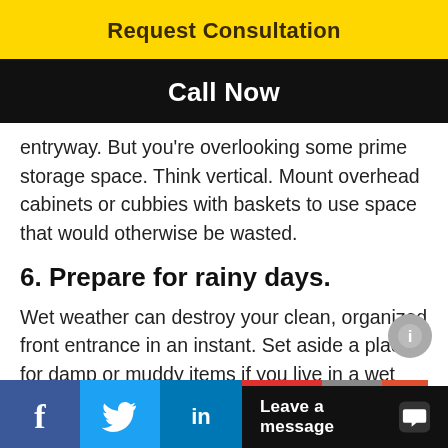Request Consultation
Call Now
entryway. But you're overlooking some prime storage space. Think vertical. Mount overhead cabinets or cubbies with baskets to use space that would otherwise be wasted.
6. Prepare for rainy days.
Wet weather can destroy your clean, organized front entrance in an instant. Set aside a place for damp or muddy items if you live in a wet climate. Or do it seasonally to help keep your entryway
f  (Twitter bird)  in  Leave a message  (chat icon)